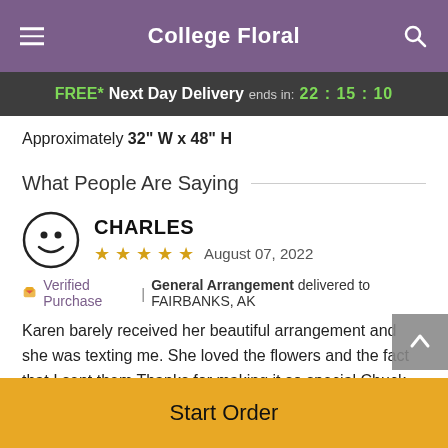College Floral
FREE* Next Day Delivery ends in: 22:15:10
Approximately 32" W x 48" H
What People Are Saying
CHARLES — ★★★★★ August 07, 2022
🎁 Verified Purchase | General Arrangement delivered to FAIRBANKS, AK
Karen barely received her beautiful arrangement and she was texting me. She loved the flowers and the fact that I sent them Thanks for making it so special Chuck
Start Order